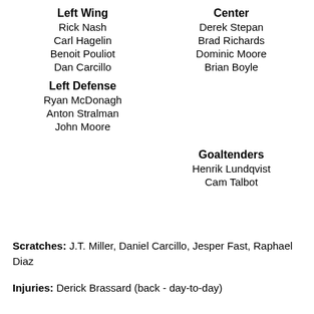Left Wing
Rick Nash
Carl Hagelin
Benoit Pouliot
Dan Carcillo
Left Defense
Ryan McDonagh
Anton Stralman
John Moore
Center
Derek Stepan
Brad Richards
Dominic Moore
Brian Boyle
Ri
Goaltenders
Henrik Lundqvist
Cam Talbot
Scratches: J.T. Miller, Daniel Carcillo, Jesper Fast, Raphael Diaz
Injuries: Derick Brassard (back - day-to-day)